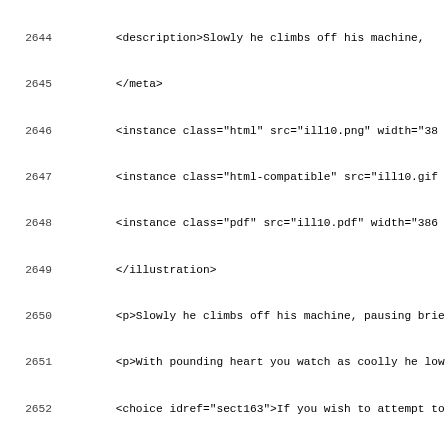Code listing showing XML/markup source lines 2644-2675, including description, meta, instance, illustration, section, data, p, choice elements.